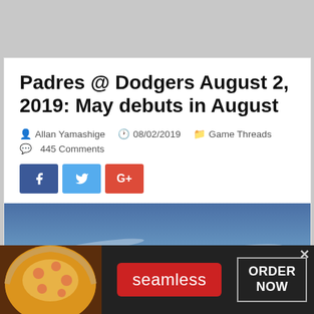Padres @ Dodgers August 2, 2019: May debuts in August
Allan Yamashige  08/02/2019  Game Threads  445 Comments
[Figure (photo): Sky with wispy clouds against a blue sky]
[Figure (infographic): Seamless food delivery advertisement banner with pizza image, seamless logo, and ORDER NOW button]